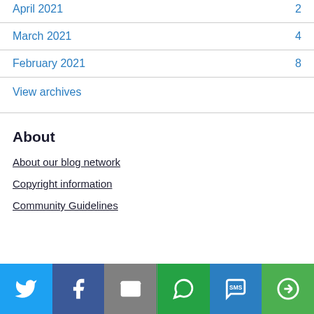April 2021   2
March 2021   4
February 2021   8
View archives
About
About our blog network
Copyright information
Community Guidelines
[Figure (infographic): Social sharing bar with Twitter, Facebook, Email, WhatsApp, SMS, and More buttons]